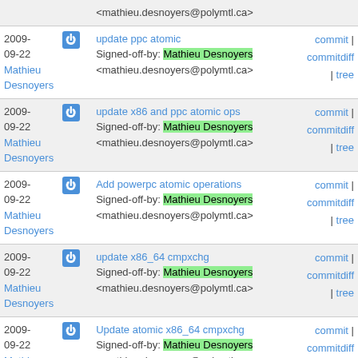| Date | Icon | Commit | Links |
| --- | --- | --- | --- |
|  |  | <mathieu.desnoyers@polymtl.ca> |  |
| 2009-09-22 | power | update ppc atomic
Signed-off-by: Mathieu Desnoyers <mathieu.desnoyers@polymtl.ca> | commit | commitdiff | tree |
| 2009-09-22 | power | update x86 and ppc atomic ops
Signed-off-by: Mathieu Desnoyers <mathieu.desnoyers@polymtl.ca> | commit | commitdiff | tree |
| 2009-09-22 | power | Add powerpc atomic operations
Signed-off-by: Mathieu Desnoyers <mathieu.desnoyers@polymtl.ca> | commit | commitdiff | tree |
| 2009-09-22 | power | update x86_64 cmpxchg
Signed-off-by: Mathieu Desnoyers <mathieu.desnoyers@polymtl.ca> | commit | commitdiff | tree |
| 2009-09-22 | power | Update atomic x86_64 cmpxchg
Signed-off-by: Mathieu Desnoyers <mathieu.desnoyers@polymtl.ca> | commit | commitdiff | tree |
| 2009-09-22 | power | makefile update
Signed-off-by: Mathieu Desnoyers <mathieu.desnoyers@polymtl.ca> | commit | commitdiff | tree |
| 2009-09-22 | power |  |  |